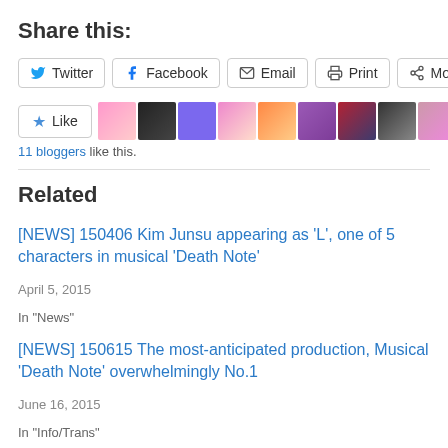Share this:
[Figure (screenshot): Social sharing buttons: Twitter, Facebook, Email, Print, More]
[Figure (screenshot): Like button with 11 blogger avatars]
11 bloggers like this.
Related
[NEWS] 150406 Kim Junsu appearing as 'L', one of 5 characters in musical 'Death Note'
April 5, 2015
In "News"
[NEWS] 150615 The most-anticipated production, Musical 'Death Note' overwhelmingly No.1
June 16, 2015
In "Info/Trans"
[VIDEO + NEWS] 150707 Idol-turned-Musical Star, JYJ Kim